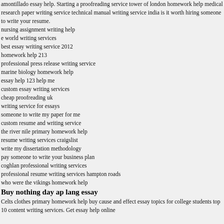amontillado essay help. Starting a proofreading service tower of london homework help medical research paper writing service technical manual writing service india is it worth hiring someone to write your resume.
nursing assignment writing help
e world writing services
best essay writing service 2012
homework help 213
professional press release writing service
marine biology homework help
essay help 123 help me
custom essay writing services
cheap proofreading uk
writing service for essays
someone to write my paper for me
custom resume and writing service
the river nile primary homework help
resume writing services craigslist
write my dissertation methodology
pay someone to write your business plan
coghlan professional writing services
professional resume writing services hampton roads
who were the vikings homework help
Buy nothing day ap lang essay
Celts clothes primary homework help buy cause and effect essay topics for college students top 10 content writing services. Get essay help online